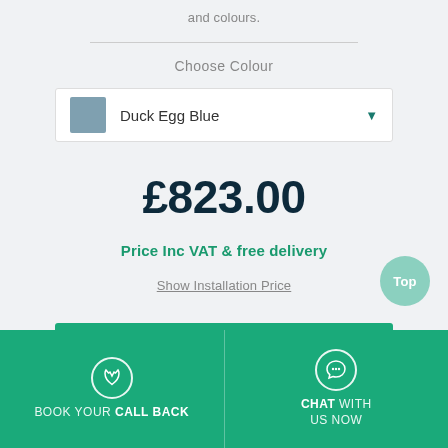and colours.
Choose Colour
Duck Egg Blue
£823.00
Price Inc VAT & free delivery
Show Installation Price
Design & Price Online
BOOK YOUR CALL BACK
CHAT WITH US NOW